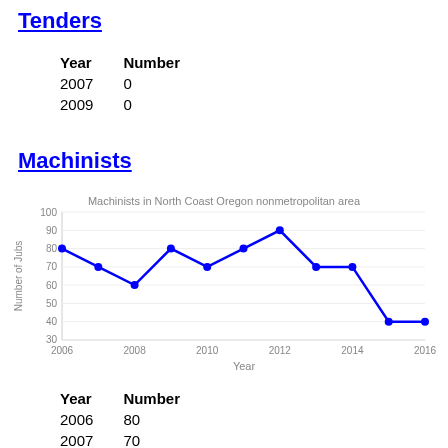Tenders
| Year | Number |
| --- | --- |
| 2007 | 0 |
| 2009 | 0 |
Machinists
[Figure (line-chart): Machinists in North Coast Oregon nonmetropolitan area]
| Year | Number |
| --- | --- |
| 2006 | 80 |
| 2007 | 70 |